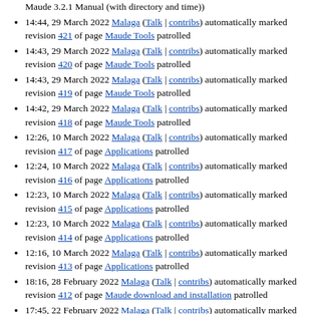Maude 3.2.1 Manual (with directory and time))
14:44, 29 March 2022 Malaga (Talk | contribs) automatically marked revision 421 of page Maude Tools patrolled
14:43, 29 March 2022 Malaga (Talk | contribs) automatically marked revision 420 of page Maude Tools patrolled
14:43, 29 March 2022 Malaga (Talk | contribs) automatically marked revision 419 of page Maude Tools patrolled
14:42, 29 March 2022 Malaga (Talk | contribs) automatically marked revision 418 of page Maude Tools patrolled
12:26, 10 March 2022 Malaga (Talk | contribs) automatically marked revision 417 of page Applications patrolled
12:24, 10 March 2022 Malaga (Talk | contribs) automatically marked revision 416 of page Applications patrolled
12:23, 10 March 2022 Malaga (Talk | contribs) automatically marked revision 415 of page Applications patrolled
12:23, 10 March 2022 Malaga (Talk | contribs) automatically marked revision 414 of page Applications patrolled
12:16, 10 March 2022 Malaga (Talk | contribs) automatically marked revision 413 of page Applications patrolled
18:16, 28 February 2022 Malaga (Talk | contribs) automatically marked revision 412 of page Maude download and installation patrolled
17:45, 22 February 2022 Malaga (Talk | contribs) automatically marked revision 411 of page Maude download and installation patrolled